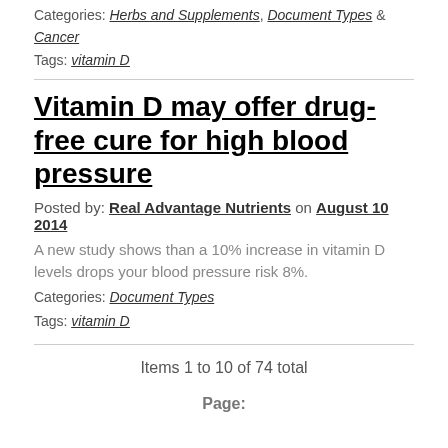Categories: Herbs and Supplements, Document Types & Cancer
Tags: vitamin D
Vitamin D may offer drug-free cure for high blood pressure
Posted by: Real Advantage Nutrients on August 10 2014
A new study shows than a 10% increase in vitamin D levels drops your blood pressure risk 8%.
Categories: Document Types
Tags: vitamin D
Items 1 to 10 of 74 total
Page: